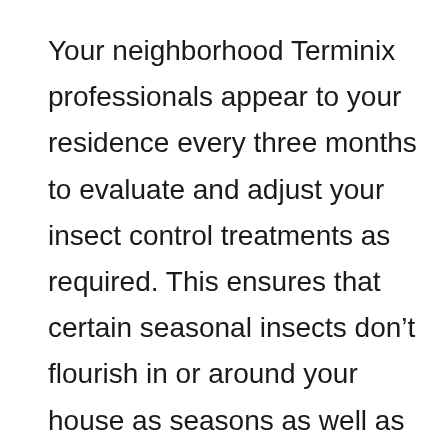Your neighborhood Terminix professionals appear to your residence every three months to evaluate and adjust your insect control treatments as required. This ensures that certain seasonal insects don’t flourish in or around your house as seasons as well as temperatures modification. Our deep background as well as leadership in the parasite control industry demonstrates our passion for scientific research,